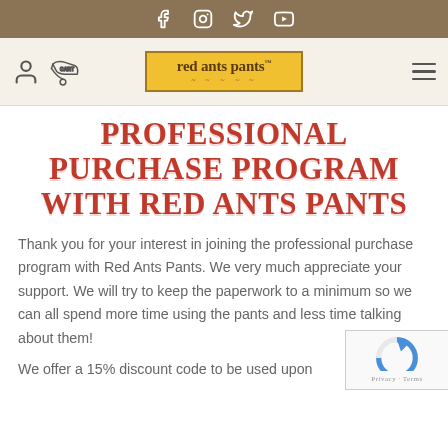[Social media icons: Facebook, Instagram, Twitter, YouTube]
[Figure (logo): Red Ants Pants logo in yellow box with brown border, user icon and cart icon on left, hamburger menu on right]
PROFESSIONAL PURCHASE PROGRAM WITH RED ANTS PANTS
Thank you for your interest in joining the professional purchase program with Red Ants Pants. We very much appreciate your support. We will try to keep the paperwork to a minimum so we can all spend more time using the pants and less time talking about them!
We offer a 15% discount code to be used upon